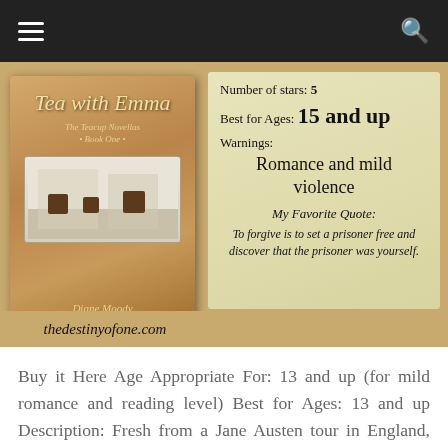[Figure (illustration): Book review card on cork board background. Left side shows book cover for 'Tea with Emma' by Diane Moody (The Teacup Novella, Book One) with image of woman with red hair and porch scene. Right side shows yellow-green info panel with: Number of stars: 5, Best for Ages: 15 and up, Warnings: Romance and mild violence, My Favorite Quote: To forgive is to set a prisoner free and discover that the prisoner was yourself. Bottom left shows website thedestinyofone.com]
Buy it Here Age Appropriate For: 13 and up (for mild romance and reading level) Best for Ages: 13 and up Description: Fresh from a Jane Austen tour in England, Maddie Cooper returns home to Texas, determined to bring a touch of "Austen to Austin." She dreams of opening an authentic English tea